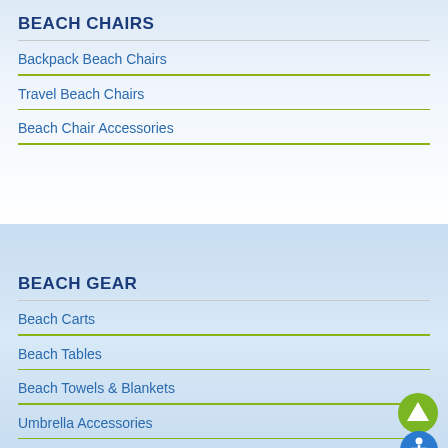BEACH CHAIRS
Backpack Beach Chairs
Travel Beach Chairs
Beach Chair Accessories
BEACH GEAR
Beach Carts
Beach Tables
Beach Towels & Blankets
Umbrella Accessories
Chair Accessories
Beach Comfort Towels